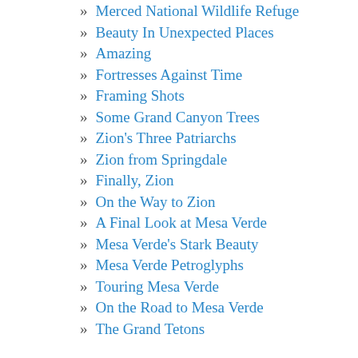» Merced National Wildlife Refuge
» Beauty In Unexpected Places
» Amazing
» Fortresses Against Time
» Framing Shots
» Some Grand Canyon Trees
» Zion's Three Patriarchs
» Zion from Springdale
» Finally, Zion
» On the Way to Zion
» A Final Look at Mesa Verde
» Mesa Verde's Stark Beauty
» Mesa Verde Petroglyphs
» Touring Mesa Verde
» On the Road to Mesa Verde
» The Grand Tetons